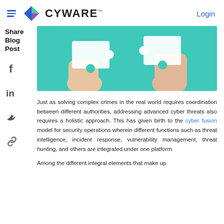CYWARE™ Login
Share Blog Post
[Figure (photo): Two hands holding white puzzle pieces together against a teal/turquoise background, viewed from above.]
Just as solving complex crimes in the real world requires coordination between different authorities, addressing advanced cyber threats also requires a holistic approach. This has given birth to the cyber fusion model for security operations wherein different functions such as threat intelligence, incident response, vulnerability management, threat hunting, and others are integrated under one platform.
Among the different integral elements that make up